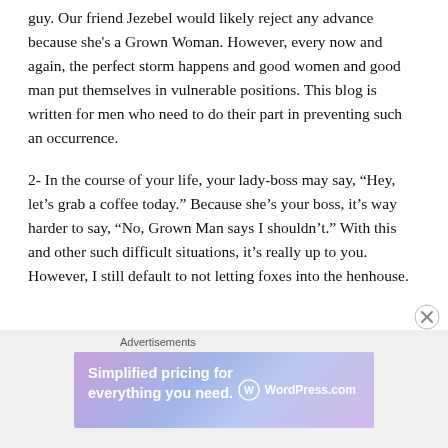guy.  Our friend Jezebel would likely reject any advance because she's a Grown Woman.  However, every now and again, the perfect storm happens and good women and good man put themselves in vulnerable positions.  This blog is written for men who need to do their part in preventing such an occurrence.
2- In the course of your life, your lady-boss may say, “Hey, let’s grab a coffee today.”  Because she’s your boss, it’s way harder to say, “No, Grown Man says I shouldn’t.”  With this and other such difficult situations, it’s really up to you. However, I still default to not letting foxes into the henhouse.
Advertisements
[Figure (other): WordPress.com advertisement banner: 'Simplified pricing for everything you need.' with WordPress.com logo on gradient purple-blue background.]